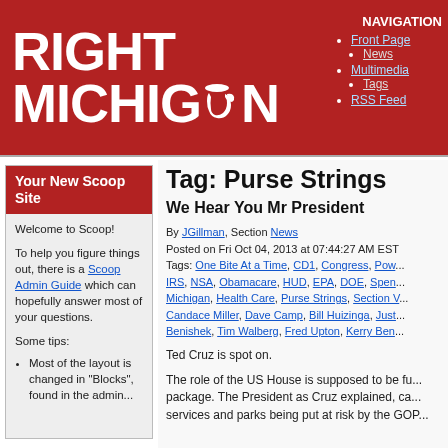RIGHT MICHIGAN
NAVIGATION
• Front Page
  • News
• Multimedia
  • Tags
• RSS Feed
Your New Scoop Site
Welcome to Scoop!

To help you figure things out, there is a Scoop Admin Guide which can hopefully answer most of your questions.

Some tips:
Most of the layout is changed in "Blocks", found in the admin...
Tag: Purse Strings
We Hear You Mr President
By JGillman, Section News
Posted on Fri Oct 04, 2013 at 07:44:27 AM EST
Tags: One Bite At a Time, CD1, Congress, Pow... IRS, NSA, Obamacare, HUD, EPA, DOE, Spen... Michigan, Health Care, Purse Strings, Section V... Candace Miller, Dave Camp, Bill Huizinga, Just... Benishek, Tim Walberg, Fred Upton, Kerry Ben...
Ted Cruz is spot on.
The role of the US House is supposed to be fu... package. The President as Cruz explained, ca... services and parks being put at risk by the GOP...